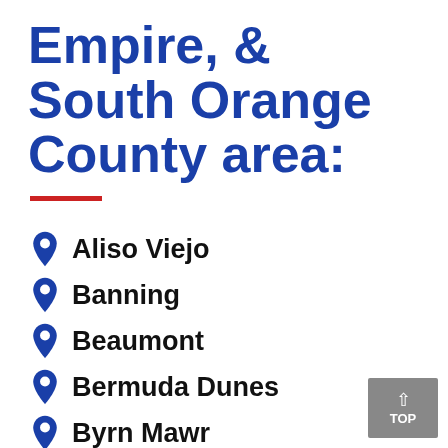Empire, & South Orange County area:
Aliso Viejo
Banning
Beaumont
Bermuda Dunes
Byrn Mawr
Cabazon
Calimesa